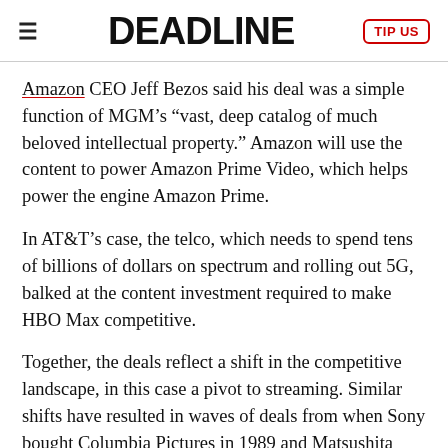DEADLINE | TIP US
Amazon CEO Jeff Bezos said his deal was a simple function of MGM’s “vast, deep catalog of much beloved intellectual property.” Amazon will use the content to power Amazon Prime Video, which helps power the engine Amazon Prime.
In AT&T’s case, the telco, which needs to spend tens of billions of dollars on spectrum and rolling out 5G, balked at the content investment required to make HBO Max competitive.
Together, the deals reflect a shift in the competitive landscape, in this case a pivot to streaming. Similar shifts have resulted in waves of deals from when Sony bought Columbia Pictures in 1989 and Matsushita bought MCA/Universal in 1991. Both were hardware companies looking to get into software. One deal lasted, one didn’t.
Today, “Everyone has realized they have to get bigger in